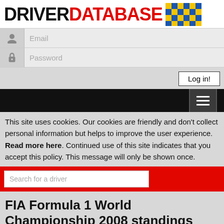DRIVER DATABASE
[Figure (screenshot): Email input field with user icon on left]
[Figure (screenshot): Password input field with lock icon on left]
[Figure (screenshot): Log in! button]
[Figure (screenshot): Black navigation bar with hamburger menu icon]
This site uses cookies. Our cookies are friendly and don't collect personal information but helps to improve the user experience. Read more here. Continued use of this site indicates that you accept this policy. This message will only be shown once.
[Figure (screenshot): Red search bar with Search for a driver input field]
FIA Formula 1 World Championship 2008 standings
Championship points standings for the FIA Formula 1 World